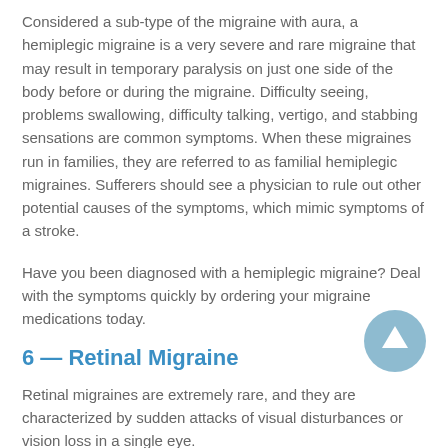Considered a sub-type of the migraine with aura, a hemiplegic migraine is a very severe and rare migraine that may result in temporary paralysis on just one side of the body before or during the migraine. Difficulty seeing, problems swallowing, difficulty talking, vertigo, and stabbing sensations are common symptoms. When these migraines run in families, they are referred to as familial hemiplegic migraines. Sufferers should see a physician to rule out other potential causes of the symptoms, which mimic symptoms of a stroke.
Have you been diagnosed with a hemiplegic migraine? Deal with the symptoms quickly by ordering your migraine medications today.
6 — Retinal Migraine
Retinal migraines are extremely rare, and they are characterized by sudden attacks of visual disturbances or vision loss in a single eye.
[Figure (illustration): A blue circular button with an upward-pointing arrow icon, used as a scroll-to-top navigation element.]